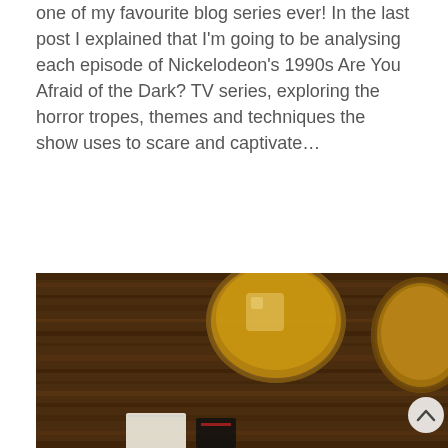one of my favourite blog series ever! In the last post I explained that I'm going to be analysing each episode of Nickelodeon's 1990s Are You Afraid of the Dark? TV series, exploring the horror tropes, themes and techniques the show uses to scare and captivate…
read more
[Figure (photo): Overhead photo of a dark wooden table with two glasses of amber whiskey/bourbon with ice, and partially visible items (book/cards) at the bottom, with a white upward-chevron navigation button overlay.]